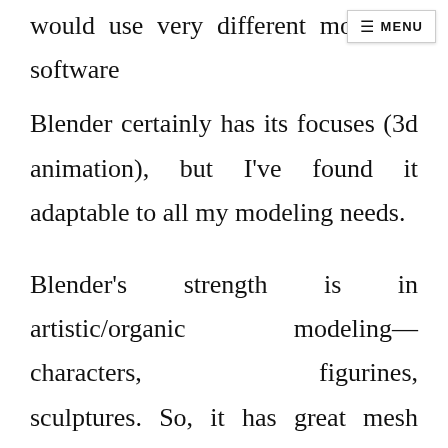would use very different modeling software
[Figure (other): Navigation menu button with hamburger icon and MENU label]
Blender certainly has its focuses (3d animation), but I've found it adaptable to all my modeling needs.
Blender's strength is in artistic/organic modeling—characters, figurines, sculptures. So, it has great mesh modeling and texture mapping tools. Many CAD packages don't have great tools for adding textures for color 3d printing. In addition to